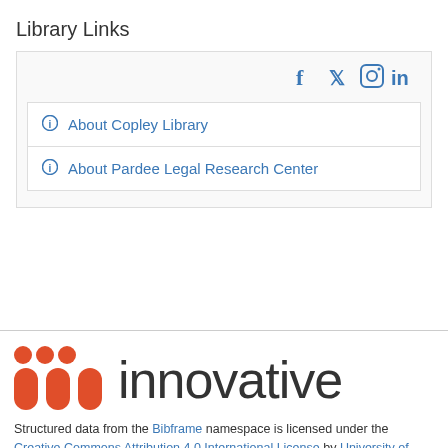Library Links
About Copley Library
About Pardee Legal Research Center
[Figure (logo): Innovative logo with orange dots and 'innovative' text in dark gray]
Structured data from the Bibframe namespace is licensed under the Creative Commons Attribution 4.0 International License by University of San Diego Libraries. Additional terms may apply to data associated with